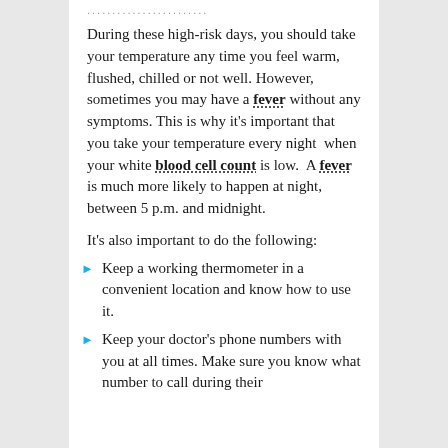........................
During these high-risk days, you should take your temperature any time you feel warm, flushed, chilled or not well. However, sometimes you may have a fever without any symptoms. This is why it's important that you take your temperature every night when your white blood cell count is low. A fever is much more likely to happen at night, between 5 p.m. and midnight.
It's also important to do the following:
Keep a working thermometer in a convenient location and know how to use it.
Keep your doctor's phone numbers with you at all times. Make sure you know what number to call during their